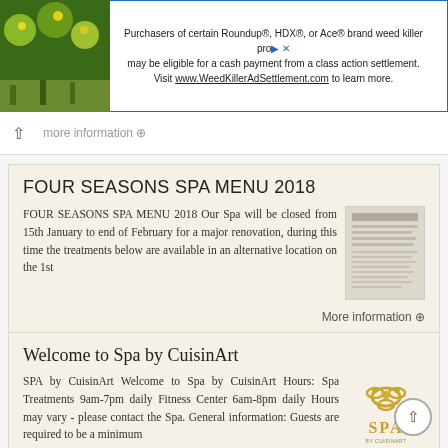[Figure (screenshot): Advertisement banner: plant/floral image on left, text about Roundup/HDX/Ace weed killer class action settlement]
more information →
FOUR SEASONS SPA MENU 2018
FOUR SEASONS SPA MENU 2018 Our Spa will be closed from 15th January to end of February for a major renovation, during this time the treatments below are available in an alternative location on the 1st
[Figure (screenshot): Thumbnail image of a spa menu document]
More information →
Welcome to Spa by CuisinArt
SPA by CuisinArt Welcome to Spa by CuisinArt Hours: Spa Treatments 9am-7pm daily Fitness Center 6am-8pm daily Hours may vary - please contact the Spa. General information: Guests are required to be a minimum
[Figure (logo): Spa by CuisinArt logo — golden SPA text with decorative knot above]